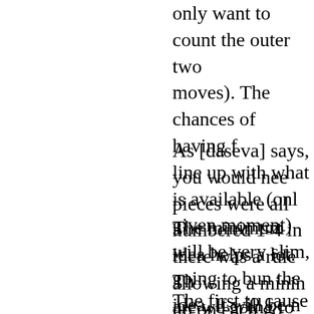only want to count the outer two moves). The chances of having f line up with what is available (onl given moment) will be very slim, going to bun the idea. It will be n strategize the dominoe aspect, y forced desparation at all times. M drawing. The game will most cer everytime, since nobody will be a dominoes so why not just play je
As [daseva] says, you would nee pieces were all numbered 1-4 in there was a rule allowing a minin up on each go, then it could work have to stay within the original sc
The minimum idea helps a lot. Th are we going to be adding up the like normal dominoes? Or simply point, the first to cause collapse l
The first to cause collapse loses, down. At least that's how I interp